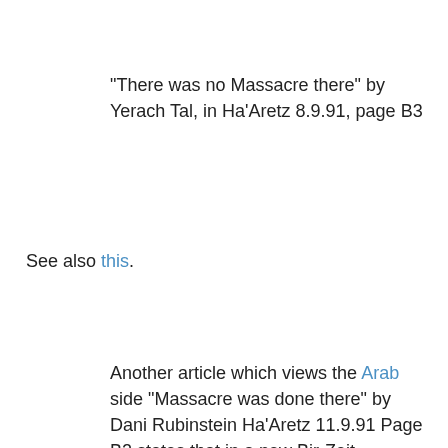"There was no Massacre there" by Yerach Tal, in Ha'Aretz 8.9.91, page B3
See also this.
Another article which views the Arab side "Massacre was done there" by Dani Rubinstein Ha'Aretz 11.9.91 Page B2 states that in a new Bir-Zeit research of the affair the number of killed was estimated at 107.
with this, too:
I asked Dr. Khalidi how we should cover the story. He said, "We must make the most of this". So we wrote a press release stating that at Deir Yassin children were murdered, pregnant women